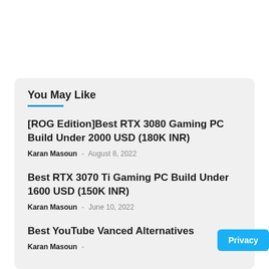You May Like
[ROG Edition]Best RTX 3080 Gaming PC Build Under 2000 USD (180K INR)
Karan Masoun - August 8, 2022
Best RTX 3070 Ti Gaming PC Build Under 1600 USD (150K INR)
Karan Masoun - June 10, 2022
Best YouTube Vanced Alternatives
Karan Masoun - ...